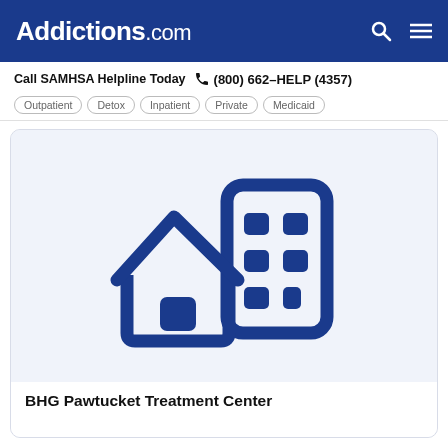Addictions.com
Call SAMHSA Helpline Today  (800) 662-HELP (4357)
Outpatient  Detox  Inpatient  Private  Medicaid
[Figure (illustration): Icon of a house and a building in dark blue, representing a treatment center]
BHG Pawtucket Treatment Center